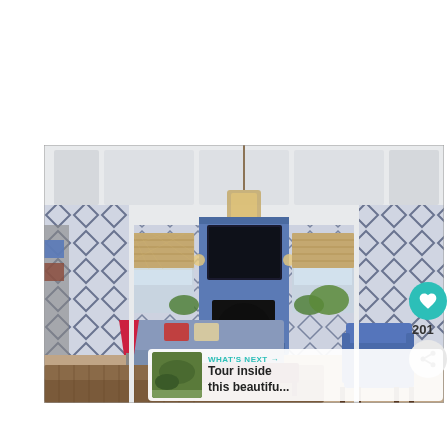[Figure (photo): Interior living room photo with blue fireplace surround, blue and white geometric patterned wallpaper, coffered white ceiling with pendant lantern, roman shades on windows, blue patterned sofa, red lamp, brown corduroy sofa in foreground, blue armchairs. Overlaid UI elements include a teal heart button with count 201, a share button, and a 'WHAT'S NEXT' banner showing a thumbnail image and text 'Tour inside this beautifu...']